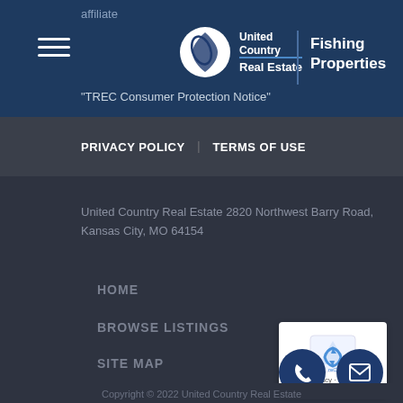affiliate
[Figure (logo): United Country Real Estate - Fishing Properties logo with circular icon]
"TREC Consumer Protection Notice"
PRIVACY POLICY | TERMS OF USE
United Country Real Estate 2820 Northwest Barry Road, Kansas City, MO 64154
HOME
BROWSE LISTINGS
SITE MAP
[Figure (other): reCAPTCHA badge with Privacy and Terms links]
Copyright © 2022 United Country Real Estate